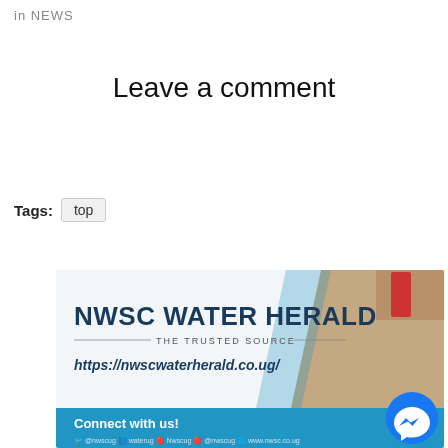in NEWS
Leave a comment
Tags: top
[Figure (illustration): NWSC Water Herald banner advertisement showing the title 'NWSC WATER HERALD', subtitle 'THE TRUSTED SOURCE', URL 'https://nwscwaterherald.co.ug/', a 'Connect with us!' section in a blue bar, social media icons, and a Facebook Messenger chat bubble icon.]